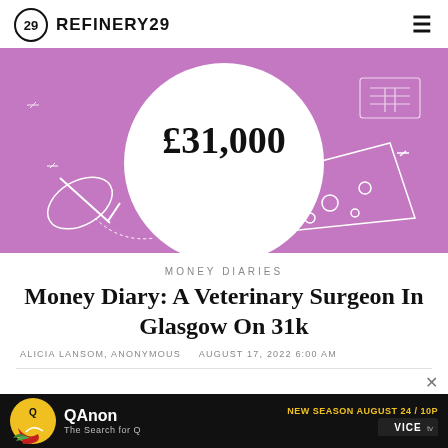REFINERY29
[Figure (illustration): Purple illustrated banner with white line art showing a hand writing, cheese wedge, and other objects. A large white circle in the center shows the text £31,000 in large dark serif font.]
MONEY DIARIES
Money Diary: A Veterinary Surgeon In Glasgow On 31k
ALICIA LANSOM, ANONYMOUS    AUGUST 17, 2022 6:00 AM
[Figure (screenshot): Advertisement bar for QAnon: The Search for Q on VICE TV. New Season August 24 / 10P.]